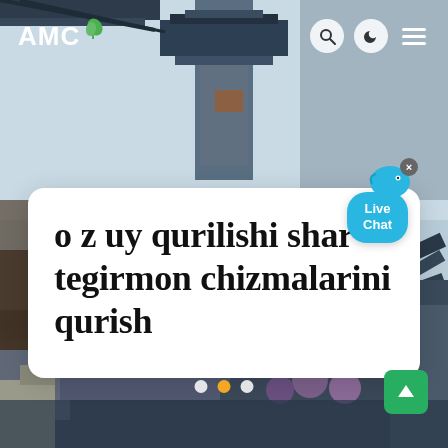[Figure (photo): Construction site / industrial machinery with metal scaffolding and structures against a light sky background. Dark metal beams and equipment visible in upper and lower portions of the image.]
AMC
o z uy qurilishi shar tegirmon chizmalarini qurish